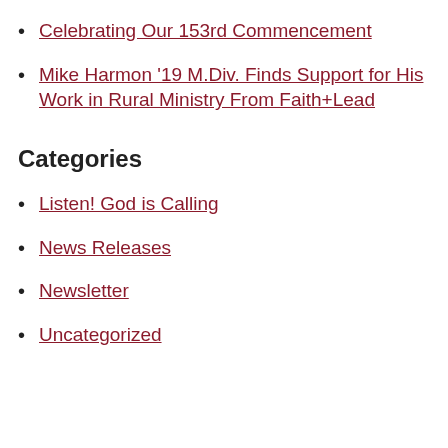Celebrating Our 153rd Commencement
Mike Harmon '19 M.Div. Finds Support for His Work in Rural Ministry From Faith+Lead
Categories
Listen! God is Calling
News Releases
Newsletter
Uncategorized